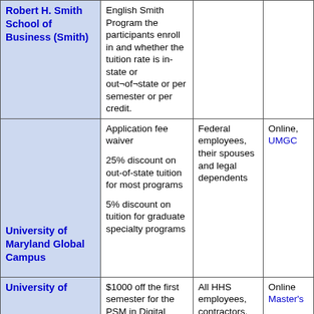| Institution | Benefit | Eligible Employees | Format/Link |
| --- | --- | --- | --- |
| Robert H. Smith School of Business (Smith) | English Smith Program the participants enroll in and whether the tuition rate is in-state or out-of-state or per semester or per credit. |  |  |
| University of Maryland Global Campus | Application fee waiver

25% discount on out-of-state tuition for most programs

5% discount on tuition for graduate specialty programs | Federal employees, their spouses and legal dependents | Online, UMGC |
| University of | $1000 off the first semester for the PSM in Digital ... | All HHS employees, contractors, and ... | Online Master's... |